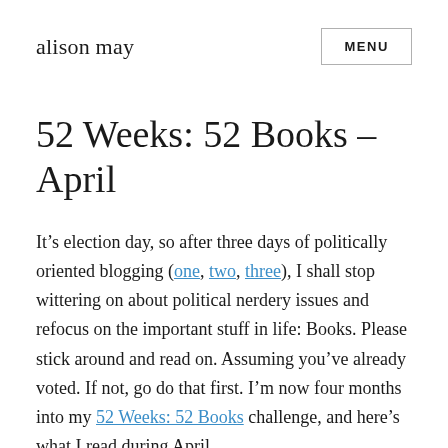alison may
52 Weeks: 52 Books – April
It's election day, so after three days of politically oriented blogging (one, two, three), I shall stop wittering on about political nerdery issues and refocus on the important stuff in life: Books. Please stick around and read on. Assuming you've already voted. If not, go do that first. I'm now four months into my 52 Weeks: 52 Books challenge, and here's what I read during April.